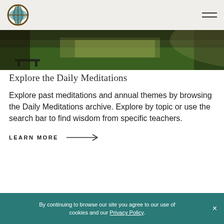Logo and navigation header
[Figure (photo): Outdoor park scene with green grass, trees, and a bench visible at the bottom left. Dark edges suggest wide-angle photo.]
Explore the Daily Meditations
Explore past meditations and annual themes by browsing the Daily Meditations archive. Explore by topic or use the search bar to find wisdom from specific teachers.
LEARN MORE →
By continuing to browse our site you agree to our use of cookies and our Privacy Policy.